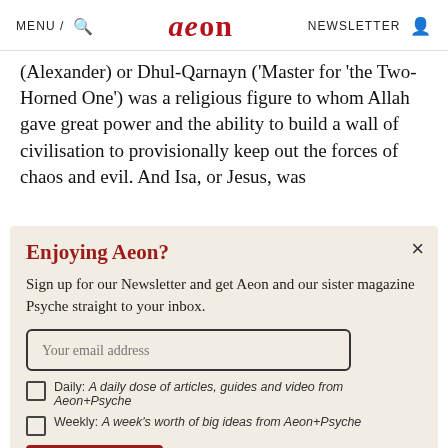MENU / [search icon] | aeon | NEWSLETTER [user icon]
(Alexander) or Dhul-Qarnayn ('Master for 'the Two-Horned One') was a religious figure to whom Allah gave great power and the ability to build a wall of civilisation to provisionally keep out the forces of chaos and evil. And Isa, or Jesus, was
Enjoying Aeon?
Sign up for our Newsletter and get Aeon and our sister magazine Psyche straight to your inbox.
Your email address
Daily: A daily dose of articles, guides and video from Aeon+Psyche
Weekly: A week's worth of big ideas from Aeon+Psyche
Sign up now
I'm already subscribed
Privacy policy